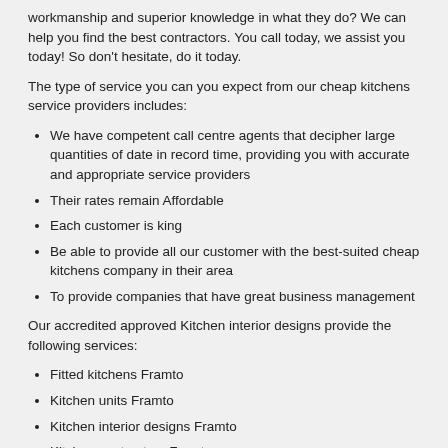workmanship and superior knowledge in what they do? We can help you find the best contractors. You call today, we assist you today! So don't hesitate, do it today.
The type of service you can you expect from our cheap kitchens service providers includes:
We have competent call centre agents that decipher large quantities of date in record time, providing you with accurate and appropriate service providers
Their rates remain Affordable
Each customer is king
Be able to provide all our customer with the best-suited cheap kitchens company in their area
To provide companies that have great business management
Our accredited approved Kitchen interior designs provide the following services:
Fitted kitchens Framto
Kitchen units Framto
Kitchen interior designs Framto
Kitchen contractors Framto
New kitchens Framto
Bespoke kitchens Framto
Kitchen designers Framto
Kitchen alterations Framto
Kitchen interior designs Framto